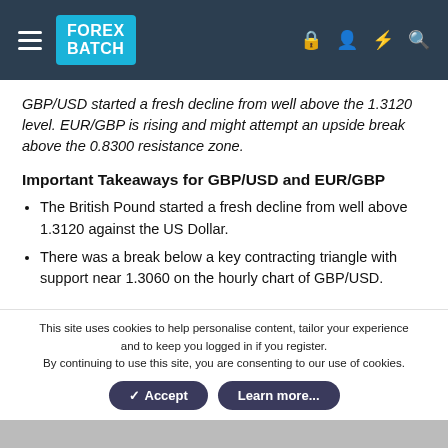FOREX BATCH
GBP/USD started a fresh decline from well above the 1.3120 level. EUR/GBP is rising and might attempt an upside break above the 0.8300 resistance zone.
Important Takeaways for GBP/USD and EUR/GBP
The British Pound started a fresh decline from well above 1.3120 against the US Dollar.
There was a break below a key contracting triangle with support near 1.3060 on the hourly chart of GBP/USD.
This site uses cookies to help personalise content, tailor your experience and to keep you logged in if you register. By continuing to use this site, you are consenting to our use of cookies.